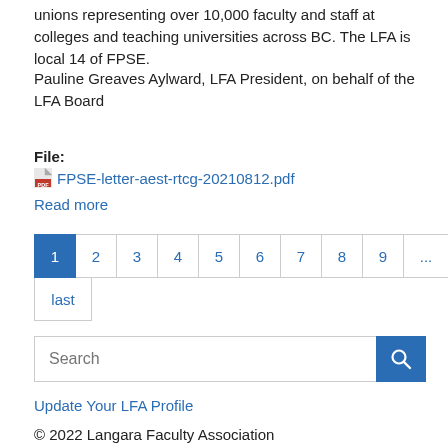unions representing over 10,000 faculty and staff at colleges and teaching universities across BC. The LFA is local 14 of FPSE.
Pauline Greaves Aylward, LFA President, on behalf of the LFA Board
File:
FPSE-letter-aest-rtcg-20210812.pdf
Read more
1
2
3
4
5
6
7
8
9
...
next
last
Search
Update Your LFA Profile
© 2022 Langara Faculty Association